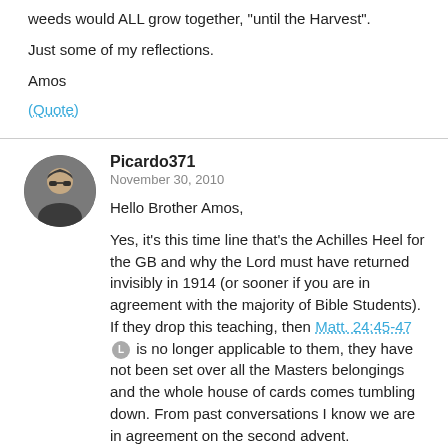weeds would ALL grow together, “until the Harvest”.
Just some of my reflections.
Amos
(Quote)
Picardo371
November 30, 2010
Hello Brother Amos,
Yes, it’s this time line that’s the Achilles Heel for the GB and why the Lord must have returned invisibly in 1914 (or sooner if you are in agreement with the majority of Bible Students). If they drop this teaching, then Matt. 24:45-47 Ⓛ is no longer applicable to them, they have not been set over all the Masters belongings and the whole house of cards comes tumbling down. From past conversations I know we are in agreement on the second advent.
You said, “My thought then, is that prior to the Lord’s return, ALL the slaves were equal, like the wheat & weeds would ALL grow together, “until the